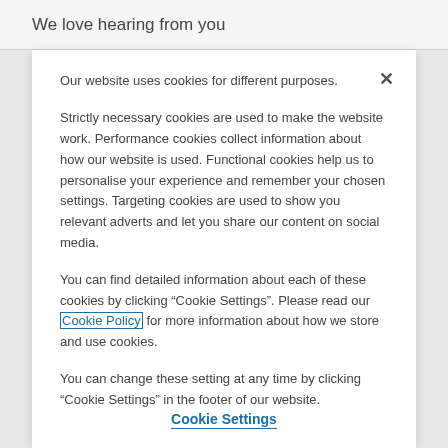We love hearing from you
Our website uses cookies for different purposes.
Strictly necessary cookies are used to make the website work. Performance cookies collect information about how our website is used. Functional cookies help us to personalise your experience and remember your chosen settings. Targeting cookies are used to show you relevant adverts and let you share our content on social media.
You can find detailed information about each of these cookies by clicking “Cookie Settings”. Please read our Cookie Policy for more information about how we store and use cookies.
You can change these setting at any time by clicking “Cookie Settings” in the footer of our website.
Cookie Settings